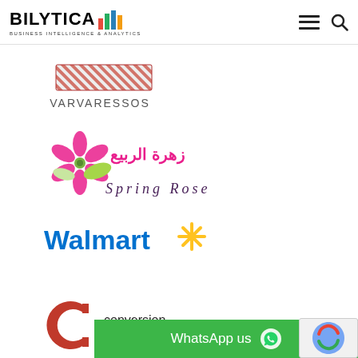BILYTICA - BUSINESS INTELLIGENCE & ANALYTICS
[Figure (logo): Varvaressos logo with diagonal stripe pattern rectangle and text VARVARESSOS]
[Figure (logo): Spring Rose logo with pink flower and Arabic text زهرة الربيع and English text Spring Rose]
[Figure (logo): Walmart logo with blue text and yellow spark/asterisk symbol]
[Figure (logo): Conversion Company logo with letter C magnet icon and text conversion company]
WhatsApp us